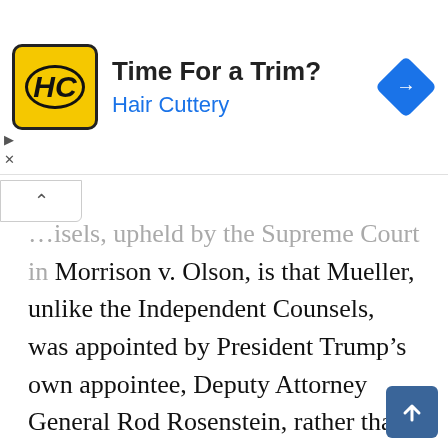[Figure (other): Advertisement banner for Hair Cuttery showing yellow HC logo, 'Time For a Trim?' headline, 'Hair Cuttery' subtitle in blue, and a blue navigation diamond icon on the right.]
...isels, upheld by the Supreme Court in Morrison v. Olson, is that Mueller, unlike the Independent Counsels, was appointed by President Trump's own appointee, Deputy Attorney General Rod Rosenstein, rather than by a three-judge court," Sklansky said. "But that just makes the argument for the constitutionality of Mueller's appointment even stronger. Given the Supreme Court's ruling in Morrison v. Olson, there is no remotely plausible argument that Mueller's appointment...